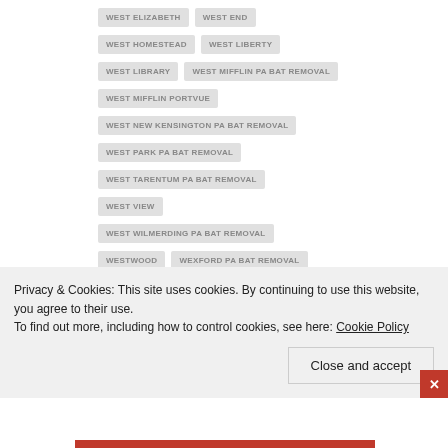WEST ELIZABETH
WEST END
WEST HOMESTEAD
WEST LIBERTY
WEST LIBRARY
WEST MIFFLIN PA BAT REMOVAL
WEST MIFFLIN PORTVUE
WEST NEW KENSINGTON PA BAT REMOVAL
WEST PARK PA BAT REMOVAL
WEST TARENTUM PA BAT REMOVAL
WEST VIEW
WEST WILMERDING PA BAT REMOVAL
WESTWOOD
WEXFORD PA BAT REMOVAL
WHITAKER
WHITE HALL
WHITE OAK
Privacy & Cookies: This site uses cookies. By continuing to use this website, you agree to their use.
To find out more, including how to control cookies, see here: Cookie Policy
Close and accept